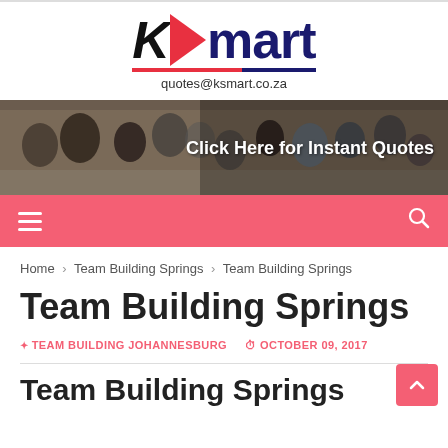[Figure (logo): KSmart logo with K in italic black, red arrow/chevron, 'mart' in dark blue, red/blue underline, and 'quotes@ksmart.co.za' below]
[Figure (photo): Banner photo of people doing team building activities outdoors with overlay text 'Click Here for Instant Quotes']
Navigation bar with hamburger menu icon and search icon on pink/salmon background
Home > Team Building Springs > Team Building Springs
Team Building Springs
TEAM BUILDING JOHANNESBURG   OCTOBER 09, 2017
Team Building Springs